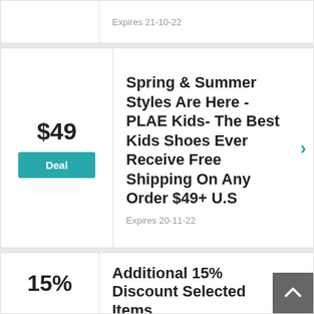Expires 21-10-22
$49
Deal
Spring & Summer Styles Are Here - PLAE Kids- The Best Kids Shoes Ever Receive Free Shipping On Any Order $49+ U.S
Expires 20-11-22
15%
Additional 15% Discount Selected Items